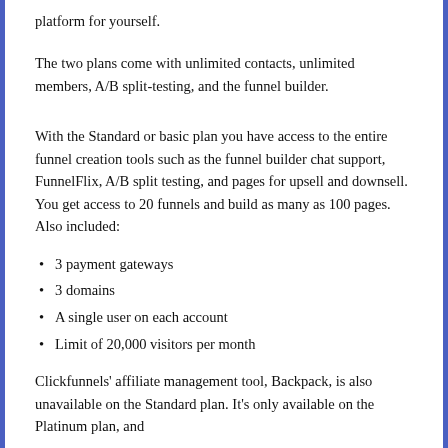platform for yourself.
The two plans come with unlimited contacts, unlimited members, A/B split-testing, and the funnel builder.
With the Standard or basic plan you have access to the entire funnel creation tools such as the funnel builder chat support, FunnelFlix, A/B split testing, and pages for upsell and downsell. You get access to 20 funnels and build as many as 100 pages. Also included:
3 payment gateways
3 domains
A single user on each account
Limit of 20,000 visitors per month
Clickfunnels' affiliate management tool, Backpack, is also unavailable on the Standard plan. It's only available on the Platinum plan, and